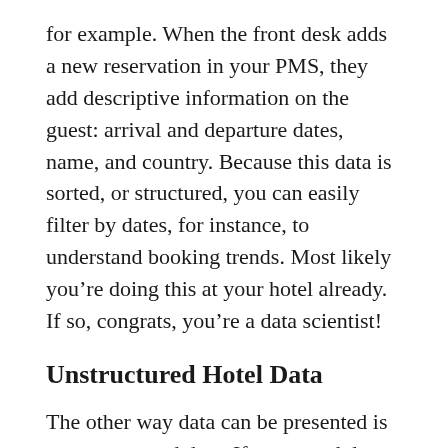for example. When the front desk adds a new reservation in your PMS, they add descriptive information on the guest: arrival and departure dates, name, and country. Because this data is sorted, or structured, you can easily filter by dates, for instance, to understand booking trends. Most likely you're doing this at your hotel already. If so, congrats, you're a data scientist!
Unstructured Hotel Data
The other way data can be presented is as unstructured data. If structured data is data that is organized, unstructured data is data that is disorganized. Quite often, unstructured data still has the potential to provide us with valuable